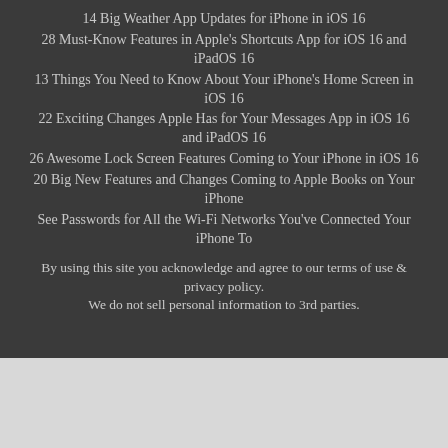14 Big Weather App Updates for iPhone in iOS 16
28 Must-Know Features in Apple's Shortcuts App for iOS 16 and iPadOS 16
13 Things You Need to Know About Your iPhone's Home Screen in iOS 16
22 Exciting Changes Apple Has for Your Messages App in iOS 16 and iPadOS 16
26 Awesome Lock Screen Features Coming to Your iPhone in iOS 16
20 Big New Features and Changes Coming to Apple Books on Your iPhone
See Passwords for All the Wi-Fi Networks You've Connected Your iPhone To
By using this site you acknowledge and agree to our terms of use & privacy policy.
We do not sell personal information to 3rd parties.